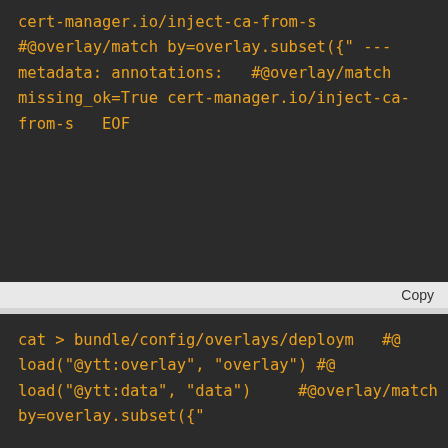[Figure (screenshot): Dark-themed code editor block showing YAML overlay configuration with cert-manager.io annotations and #@overlay/match directives]
Copy
[Figure (screenshot): Dark-themed code editor block showing cat command and ytt overlay/data load directives with #@overlay/match]